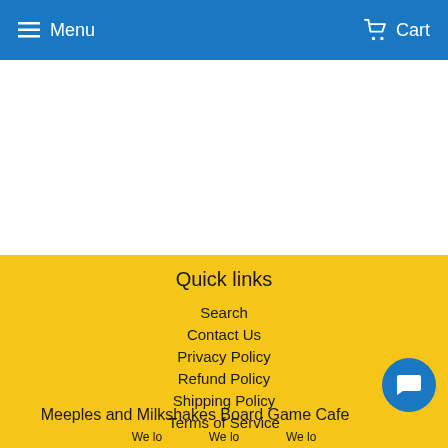Menu   Cart
Quick links
Search
Contact Us
Privacy Policy
Refund Policy
Shipping Policy
Terms of Service
Meeples and Milkshakes Board Game Cafe
We lo...  We lo...  We lo...